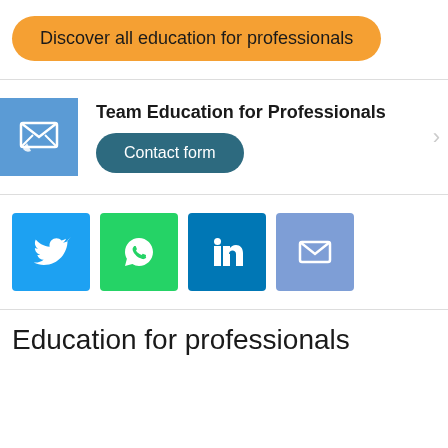Discover all education for professionals
Team Education for Professionals
Contact form
[Figure (infographic): Social sharing icons: Twitter (blue), WhatsApp (green), LinkedIn (blue), Email (light blue)]
Education for professionals